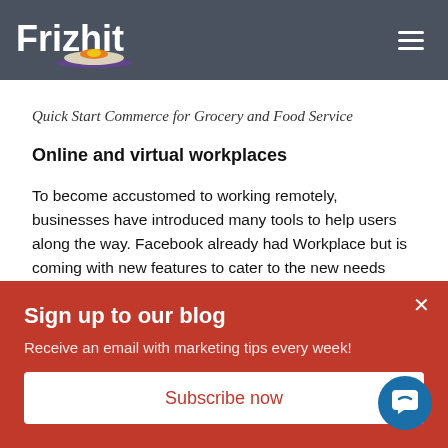Frizhit
Quick Start Commerce for Grocery and Food Service
Online and virtual workplaces
To become accustomed to working remotely, businesses have introduced many tools to help users along the way. Facebook already had Workplace but is coming with new features to cater to the new needs which have developed since COVID
Sign up to our blog
Receive an email with marketing tips every week!
Subscribe now